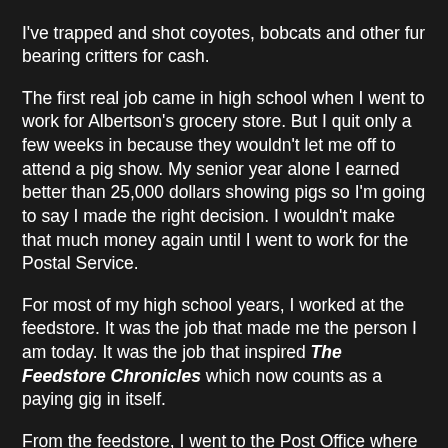I've trapped and shot coyotes, bobcats and other fur bearing critters for cash.
The first real job came in high school when I went to work for Albertson's grocery store. But I quit only a few weeks in because they wouldn't let me off to attend a pig show. My senior year alone I earned better than 25,000 dollars showing pigs so I'm going to say I made the right decision. I wouldn't make that much money again until I went to work for the Postal Service.
For most of my high school years, I worked at the feedstore. It was the job that made me the person I am today. It was the job that inspired The Feedstore Chronicles which now counts as a paying gig in itself.
From the feedstore, I went to the Post Office where I still am today, but alongside my daily shores of ensuring the mail gets to its destination I have padded my income with a variety of gigs.
I reffed high school football for a number of years. I played